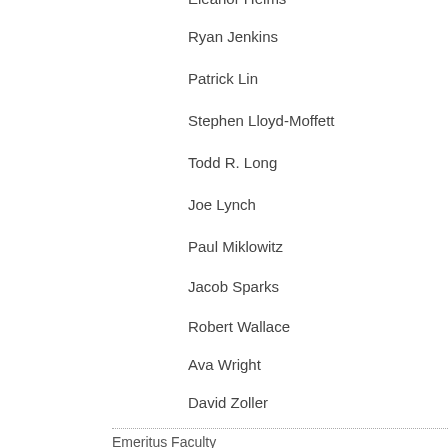Ryan Jenkins
Patrick Lin
Stephen Lloyd-Moffett
Todd R. Long
Joe Lynch
Paul Miklowitz
Jacob Sparks
Robert Wallace
Ava Wright
David Zoller
Emeritus Faculty
Linda Bomstad
Charles T. Hagen